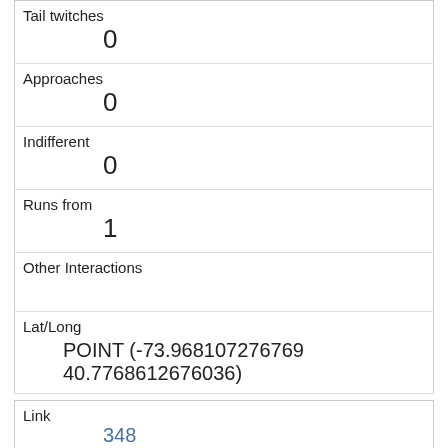| Tail twitches | 0 |
| Approaches | 0 |
| Indifferent | 0 |
| Runs from | 1 |
| Other Interactions |  |
| Lat/Long | POINT (-73.968107276769 40.7768612676036) |
| Link | 348 |
| rowid | 348 |
| longitude | -73.9542990150586 |
| latitude | 40.794091530067796 |